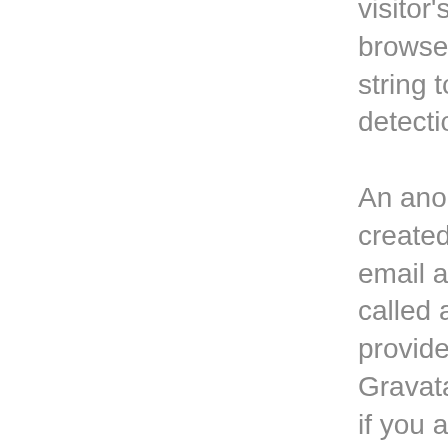visitor's IP address and browser user agent string to help spam detection.

An anonymized string created from your email address (also called a hash) may be provided to the Gravatar service to see if you are using it. The Gravatar service privacy policy is available